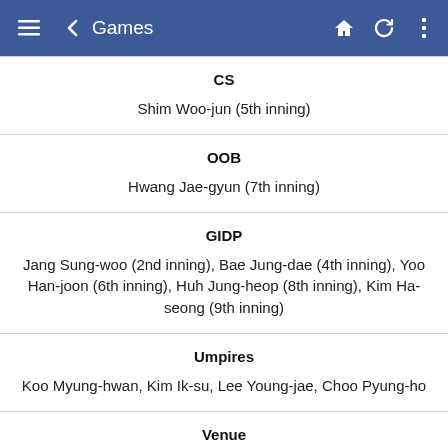Games
CS
Shim Woo-jun (5th inning)
OOB
Hwang Jae-gyun (7th inning)
GIDP
Jang Sung-woo (2nd inning), Bae Jung-dae (4th inning), Yoo Han-joon (6th inning), Huh Jung-heop (8th inning), Kim Ha-seong (9th inning)
Umpires
Koo Myung-hwan, Kim Ik-su, Lee Young-jae, Choo Pyung-ho
Venue
Gocheok Sky Dome